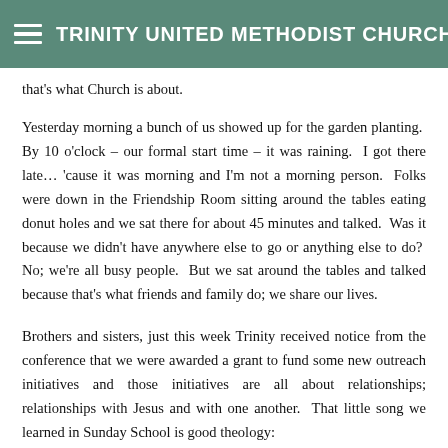TRINITY UNITED METHODIST CHURCH
that's what Church is about.
Yesterday morning a bunch of us showed up for the garden planting.  By 10 o'clock – our formal start time – it was raining.  I got there late… 'cause it was morning and I'm not a morning person.  Folks were down in the Friendship Room sitting around the tables eating donut holes and we sat there for about 45 minutes and talked.  Was it because we didn't have anywhere else to go or anything else to do?  No; we're all busy people.  But we sat around the tables and talked because that's what friends and family do; we share our lives.
Brothers and sisters, just this week Trinity received notice from the conference that we were awarded a grant to fund some new outreach initiatives and those initiatives are all about relationships; relationships with Jesus and with one another.  That little song we learned in Sunday School is good theology: